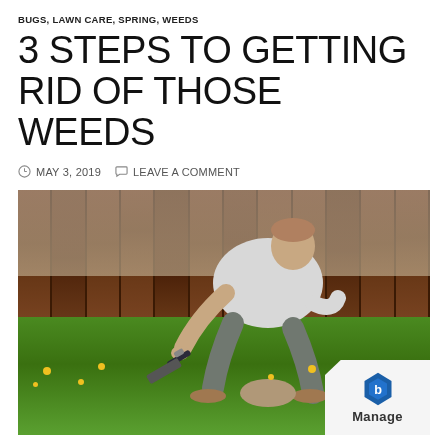BUGS, LAWN CARE, SPRING, WEEDS
3 STEPS TO GETTING RID OF THOSE WEEDS
MAY 3, 2019   LEAVE A COMMENT
[Figure (photo): Man crouching on green grass lawn using a hand trowel to dig out dandelion weeds, with a dark wooden fence in the background. A Manage logo overlay appears in the bottom right corner.]